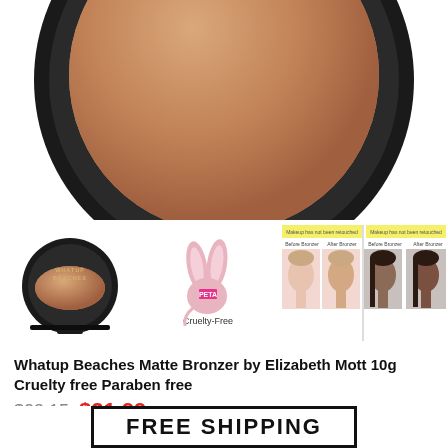[Figure (photo): Close-up top view of an open round compact bronzer with dark brown/tan powder and black rim/case, partially cropped at top]
[Figure (photo): Small thumbnail of Whatup Beaches compact bronzer in closed black case]
[Figure (photo): PETA Cruelty-Free bunny logo with pink rabbit ears and text 'Cruelty-Free']
[Figure (photo): Before and after bronzer comparison photos showing two women's faces with text 'Makeup has not been retouched', 'Before Bronzer', 'After Bronzer']
Whatup Beaches Matte Bronzer by Elizabeth Mott 10g Cruelty free Paraben free
$23.15  $21.99
2 in stock
FREE SHIPPING